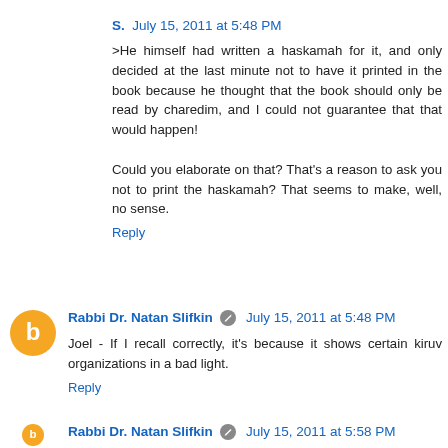S.  July 15, 2011 at 5:48 PM
>He himself had written a haskamah for it, and only decided at the last minute not to have it printed in the book because he thought that the book should only be read by charedim, and I could not guarantee that that would happen!

Could you elaborate on that? That's a reason to ask you not to print the haskamah? That seems to make, well, no sense.
Reply
Rabbi Dr. Natan Slifkin  July 15, 2011 at 5:48 PM
Joel - If I recall correctly, it's because it shows certain kiruv organizations in a bad light.
Reply
Rabbi Dr. Natan Slifkin  July 15, 2011 at 5:58 PM